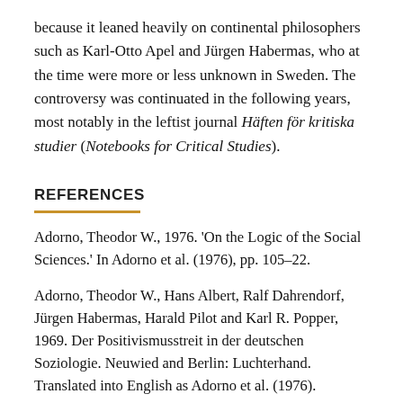because it leaned heavily on continental philosophers such as Karl-Otto Apel and Jürgen Habermas, who at the time were more or less unknown in Sweden. The controversy was continuated in the following years, most notably in the leftist journal Häften för kritiska studier (Notebooks for Critical Studies).
REFERENCES
Adorno, Theodor W., 1976. 'On the Logic of the Social Sciences.' In Adorno et al. (1976), pp. 105–22.
Adorno, Theodor W., Hans Albert, Ralf Dahrendorf, Jürgen Habermas, Harald Pilot and Karl R. Popper, 1969. Der Positivismusstreit in der deutschen Soziologie. Neuwied and Berlin: Luchterhand. Translated into English as Adorno et al. (1976).
———, 1976. The Positivist Dispute in German Sociology,